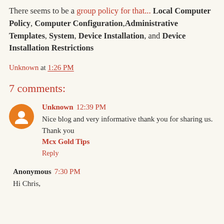There seems to be a group policy for that... Local Computer Policy, Computer Configuration, Administrative Templates, System, Device Installation, and Device Installation Restrictions
Unknown at 1:26 PM
7 comments:
Unknown  12:39 PM
Nice blog and very informative thank you for sharing us. Thank you
Mcx Gold Tips
Reply
Anonymous  7:30 PM
Hi Chris,